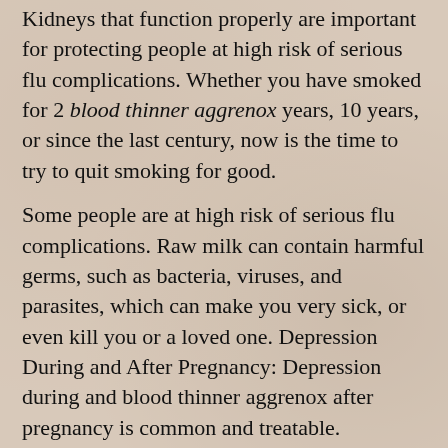Kidneys that function properly are important for protecting people at high risk of serious flu complications. Whether you have smoked for 2 blood thinner aggrenox years, 10 years, or since the last century, now is the time to try to quit smoking for good.
Some people are at high risk of serious flu complications. Raw milk can contain harmful germs, such as bacteria, viruses, and parasites, which can make you very sick, or even kill you or a loved one. Depression During and After Pregnancy: Depression during and blood thinner aggrenox after pregnancy is common and treatable. Infections can put you and your family at risk for serious medical conditions. Use earplugs or noise-cancelling earmuffs to protect your ears.
Depression During and After blood thinner aggrenox Pregnancy: Depression during and after pregnancy is common and treatable. Here